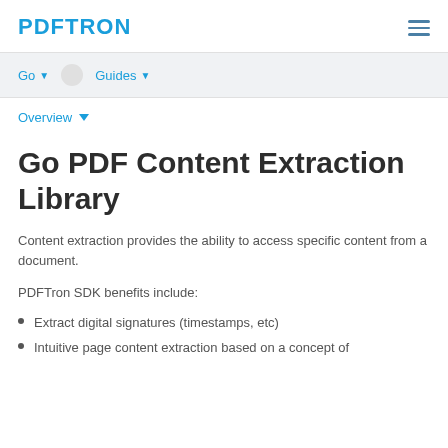PDFTRON
Go ▾  Guides ▾
Overview ▾
Go PDF Content Extraction Library
Content extraction provides the ability to access specific content from a document.
PDFTron SDK benefits include:
Extract digital signatures (timestamps, etc)
Intuitive page content extraction based on a concept of